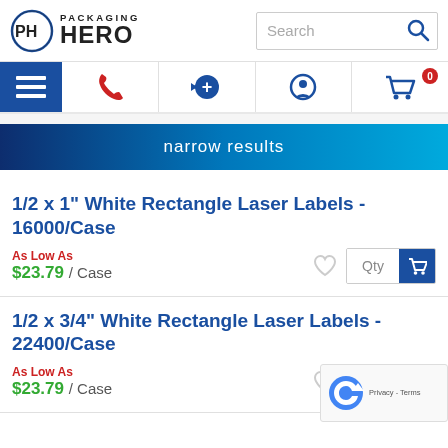[Figure (logo): Packaging Hero logo with circular PH emblem and text]
[Figure (screenshot): Navigation bar with hamburger menu, phone, add, profile, and cart icons]
narrow results
1/2 x 1" White Rectangle Laser Labels - 16000/Case
As Low As
$23.79 / Case
1/2 x 3/4" White Rectangle Laser Labels - 22400/Case
As Low As
$23.79 / Case